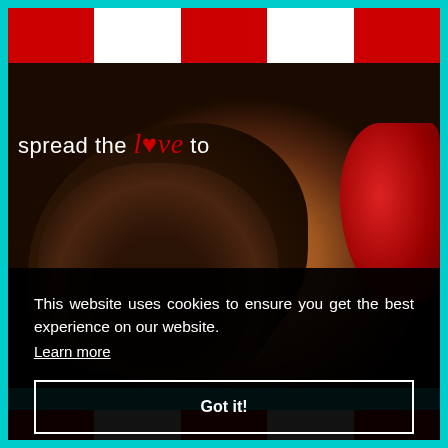[Figure (illustration): Website screenshot with teal/cyan border. Top section shows red and white vertical stripes. Middle section shows a dark photo of a child's face with curly hair and a red bow, overlaid with 'spread the love to' logo text in white and red. Bottom section shows a black cookie consent banner with text and a 'Got it!' button.]
This website uses cookies to ensure you get the best experience on our website. Learn more
Got it!